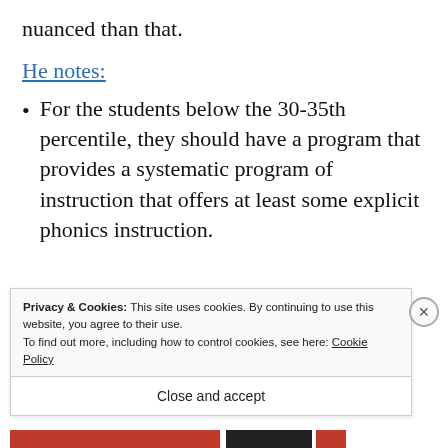nuanced than that.
He notes:
For the students below the 30-35th percentile, they should have a program that provides a systematic program of instruction that offers at least some explicit phonics instruction.
Privacy & Cookies: This site uses cookies. By continuing to use this website, you agree to their use.
To find out more, including how to control cookies, see here: Cookie Policy
Close and accept